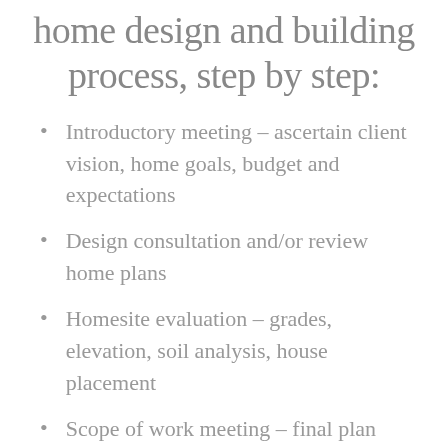home design and building process, step by step:
Introductory meeting – ascertain client vision, home goals, budget and expectations
Design consultation and/or review home plans
Homesite evaluation – grades, elevation, soil analysis, house placement
Scope of work meeting – final plan details,